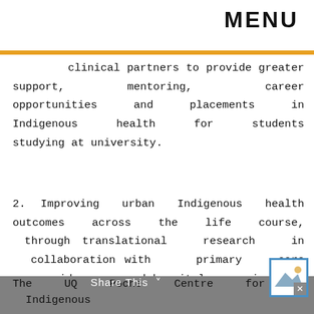MENU
clinical partners to provide greater support, mentoring, career opportunities and placements in Indigenous health for students studying at university.
2. Improving urban Indigenous health outcomes across the life course, through translational research in collaboration with primary care providers and hospitals on improved models of health service delivery to urban Indigenous people, with a major focus on prevention and education.
The UQ Poche Centre for Indigenous